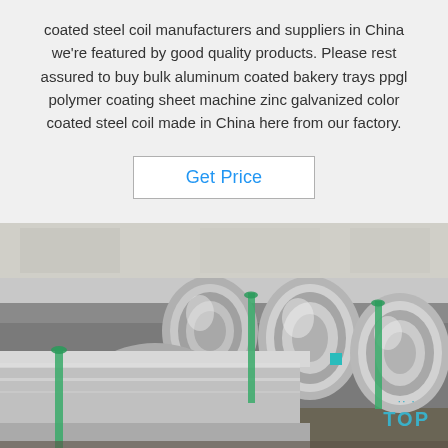coated steel coil manufacturers and suppliers in China we're featured by good quality products. Please rest assured to buy bulk aluminum coated bakery trays ppgl polymer coating sheet machine zinc galvanized color coated steel coil made in China here from our factory.
Get Price
[Figure (photo): Three large shiny aluminum or steel coils wrapped with green strapping bands, stored on wooden pallets on a warehouse floor. The coils are metallic silver in color. A blue 'TOP' watermark with splatter dots appears in the bottom right corner.]